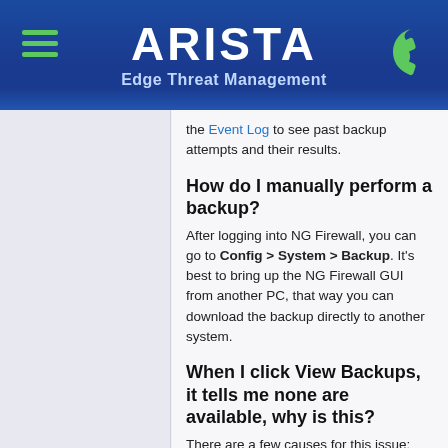[Figure (logo): Arista Edge Threat Management header with hamburger menu icon on left, ARISTA logo in center, phone icon on right, blue gradient background]
the Event Log to see past backup attempts and their results.
How do I manually perform a backup?
After logging into NG Firewall, you can go to Config > System > Backup. It's best to bring up the NG Firewall GUI from another PC, that way you can download the backup directly to another system.
When I click View Backups, it tells me none are available, why is this?
There are a few causes for this issue:
You just installed and Untangle has not performed its first nightly backup.
You don't have Configuration Backup...